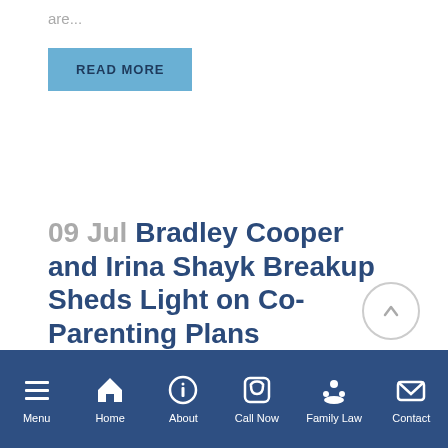are...
READ MORE
09 Jul Bradley Cooper and Irina Shayk Breakup Sheds Light on Co-Parenting Plans
Posted at 08:33h in Custody by Eric Navarrette · 0 Comments · 0 Likes · Share
Menu | Home | About | Call Now | Family Law | Contact